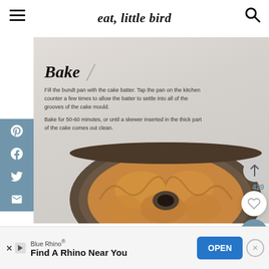eat, little bird
[Figure (photo): Top-down view of a bundt cake pan filled with golden-brown cake batter, sitting on a marble surface]
Bake
Fill the bundt pan with the cake batter. Tap the pan on the kitchen counter a few times to allow the batter to settle into all of the grooves of the cake mould.
Bake for 50-60 minutes, or until a skewer inserted in the thick part of the cake comes out clean.
Blue Rhino® Find A Rhino Near You